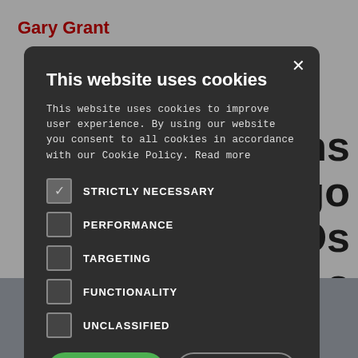Gary Grant
ntens
not go
NGOs
s
[Figure (screenshot): Cookie consent modal dialog on dark overlay background]
This website uses cookies
This website uses cookies to improve user experience. By using our website you consent to all cookies in accordance with our Cookie Policy. Read more
STRICTLY NECESSARY (checked)
PERFORMANCE
TARGETING
FUNCTIONALITY
UNCLASSIFIED
ACCEPT ALL
DECLINE ALL
SHOW DETAILS